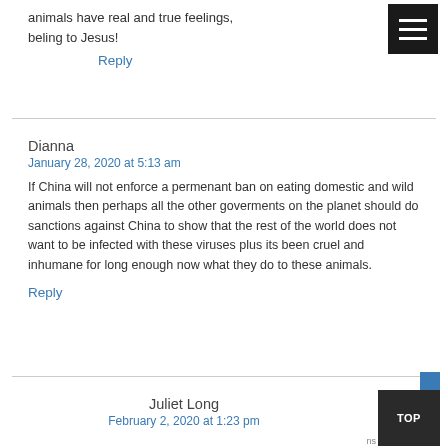animals have real and true feelings, beling to Jesus!
Reply
Dianna
January 28, 2020 at 5:13 am
If China will not enforce a permenant ban on eating domestic and wild animals then perhaps all the other goverments on the planet should do sanctions against China to show that the rest of the world does not want to be infected with these viruses plus its been cruel and inhumane for long enough now what they do to these animals.
Reply
Juliet Long
February 2, 2020 at 1:23 pm